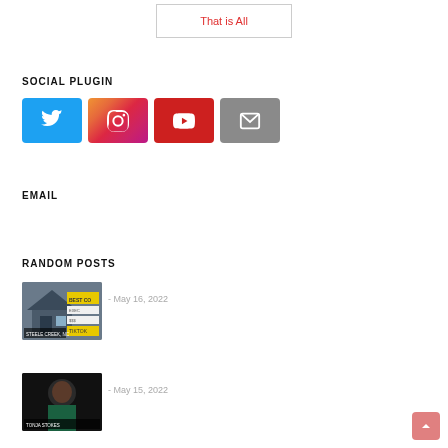That is All
SOCIAL PLUGIN
[Figure (illustration): Four social media icon buttons: Twitter (blue), Instagram (gradient), YouTube (red), Email (gray)]
EMAIL
RANDOM POSTS
[Figure (photo): Thumbnail of a house labeled STEELE CREEK, NC with overlaid text snippets]
- May 16, 2022
[Figure (photo): Thumbnail of a woman labeled TONJA STOKES]
- May 15, 2022